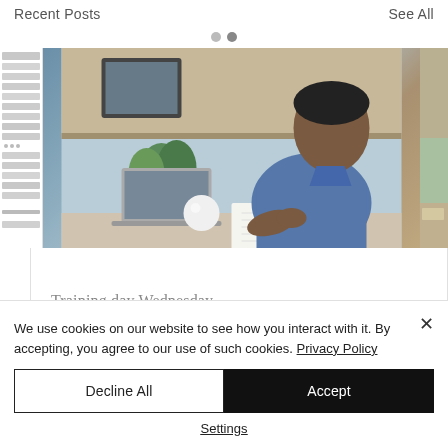Recent Posts
See All
[Figure (photo): Carousel with two navigation dots, a left thumbnail strip panel, a main photo of a man in a blue shirt writing in a notebook with a laptop and plants on a desk, and a partial right image]
Training day Wednesday (11:00 - 16:00)
We use cookies on our website to see how you interact with it. By accepting, you agree to our use of such cookies. Privacy Policy
Decline All
Accept
Settings